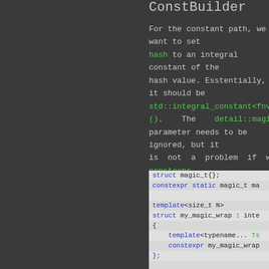ConstBuilder
For the constant path, we want to set hash to an integral constant of the hash value. Esstentially, it should be std::integral_constant<fnv1a64(x)>(). The detail::magic parameter needs to be ignored, but it is not a problem if we make it constexpr.
[Figure (screenshot): C++ code snippet showing struct magic_t{}; constexpr static magic_t ma... template<size_t N> struct my_magic_wrap : inte... { template<typename... Ts constexpr my_magic_wrap }; struct ConstBuilder {]